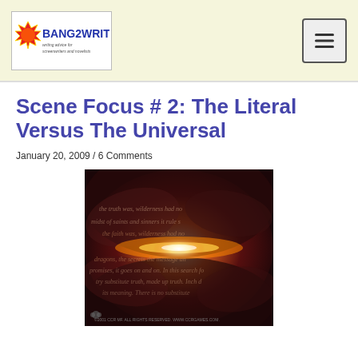Bang2Write logo and navigation menu button
Scene Focus # 2: The Literal Versus The Universal
January 20, 2009 / 6 Comments
[Figure (photo): A dramatic abstract/cosmic image with swirling dark clouds and a bright central light source, overlaid with faint italic script text — visual metaphor for universal themes in writing.]